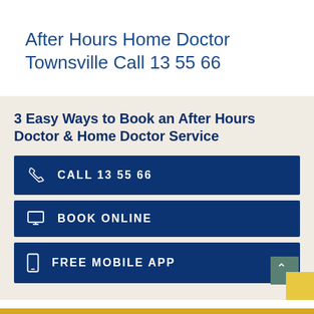After Hours Home Doctor Townsville Call 13 55 66
3 Easy Ways to Book an After Hours Doctor & Home Doctor Service
CALL 13 55 66
BOOK ONLINE
FREE MOBILE APP